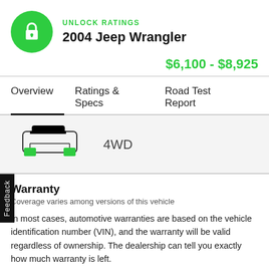UNLOCK RATINGS
2004 Jeep Wrangler
$6,100 - $8,925
Overview  Ratings & Specs  Road Test Report
[Figure (schematic): Car drivetrain diagram showing 4WD configuration with green highlighted wheels]
4WD
Warranty
Coverage varies among versions of this vehicle
In most cases, automotive warranties are based on the vehicle identification number (VIN), and the warranty will be valid regardless of ownership. The dealership can tell you exactly how much warranty is left.
Read more about extended warranties